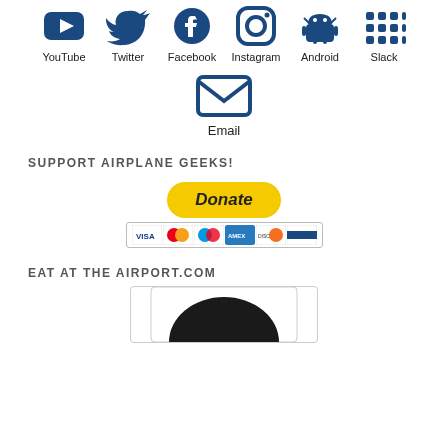[Figure (infographic): Row of social media icons (YouTube, Twitter, Facebook, Instagram, Android, Slack) in dark blue with labels below]
[Figure (infographic): Email icon (envelope) in dark blue with label 'Email' below]
SUPPORT AIRPLANE GEEKS!
[Figure (infographic): PayPal Donate button in yellow with credit card icons below (Visa, Mastercard, Maestro, Amex, Discover, another card)]
EAT AT THE AIRPORT.COM
[Figure (logo): Partial circular dark logo visible at bottom of page]